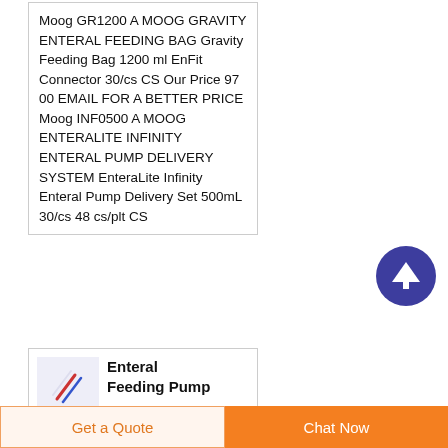Moog GR1200 A MOOG GRAVITY ENTERAL FEEDING BAG Gravity Feeding Bag 1200 ml EnFit Connector 30/cs CS Our Price 97 00 EMAIL FOR A BETTER PRICE Moog INF0500 A MOOG ENTERALITE INFINITY ENTERAL PUMP DELIVERY SYSTEM EnteraLite Infinity Enteral Pump Delivery Set 500mL 30/cs 48 cs/plt CS
[Figure (illustration): Circular dark blue button with upward arrow icon (scroll to top button)]
[Figure (photo): Small thumbnail image of an enteral feeding pump product]
Enteral Feeding Pump
Get a Quote
Chat Now